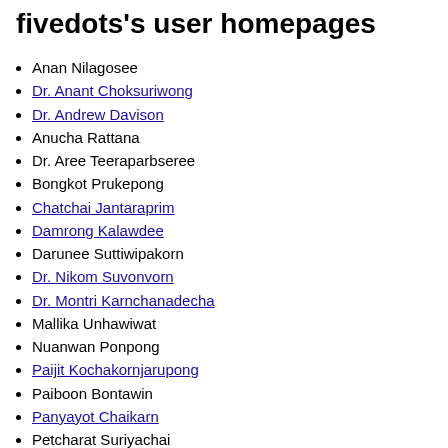fivedots's user homepages
Anan Nilagosee
Dr. Anant Choksuriwong
Dr. Andrew Davison
Anucha Rattana
Dr. Aree Teeraparbseree
Bongkot Prukepong
Chatchai Jantaraprim
Damrong Kalawdee
Darunee Suttiwipakorn
Dr. Nikom Suvonvorn
Dr. Montri Karnchanadecha
Mallika Unhawiwat
Nuanwan Ponpong
Paijit Kochakornjarupong
Paiboon Bontawin
Panyayot Chaikarn
Petcharat Suriyachai
Phatcharee Thepnimit
Dr. Pichaya Tandayya
Robert Elz
Sakuna Charoenpanyasak